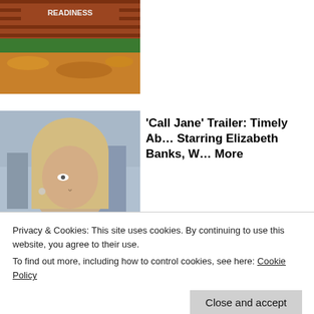[Figure (photo): Photograph of a brick wall with 'READINESS' text and small figurines in front, surrounded by autumn leaves on the ground]
[Figure (photo): Photo of a blonde woman (Elizabeth Banks) in a tan coat looking distressed or emotional, from the movie 'Call Jane']
'Call Jane' Trailer: Timely Ab... Starring Elizabeth Banks, W... More
Shadow and Act
[Figure (photo): Partial photo of a blue vehicle/truck roof with gold studs or lights]
Privacy & Cookies: This site uses cookies. By continuing to use this website, you agree to their use.
To find out more, including how to control cookies, see here: Cookie Policy
Close and accept